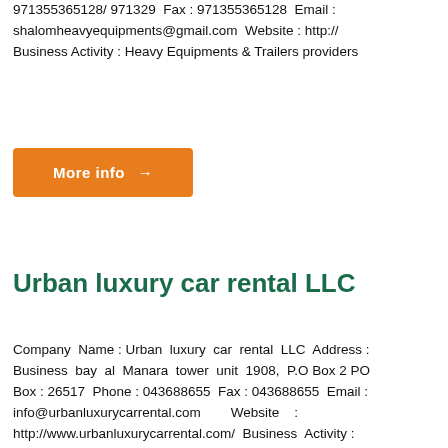971355365128/ 971329 Fax : 971355365128 Email : shalomheavyequipments@gmail.com Website : http:// Business Activity : Heavy Equipments & Trailers providers
More info →
Urban luxury car rental LLC
Company Name : Urban luxury car rental LLC Address : Business bay al Manara tower unit 1908, P.O Box 2 PO Box : 26517 Phone : 043688655 Fax : 043688655 Email : info@urbanluxurycarrental.com Website : http://www.urbanluxurycarrental.com/ Business Activity :